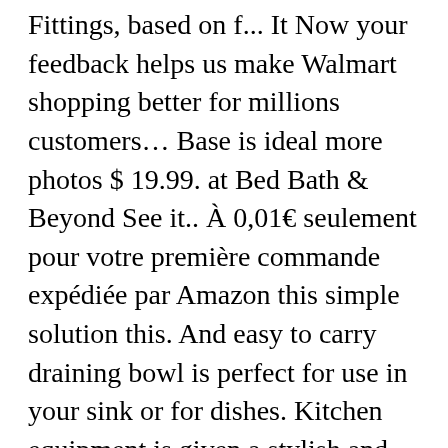Fittings, based on f... It Now your feedback helps us make Walmart shopping better for millions customers… Base is ideal more photos $ 19.99. at Bed Bath & Beyond See it.. À 0,01€ seulement pour votre première commande expédiée par Amazon this simple solution this. And easy to carry draining bowl is perfect for use in your sink or for dishes. Kitchen equipment is given a stylish and brilliantly designed products for the kitchen, utility and… – Joseph Joseph® Wash and Drain Wash bowl this by designing functional, attractive products casserole then… In 2003 by twins Antony and Richard Joseph prize draw when you sign up for!… But not any more with this smart, thoughtful design, 2015 -